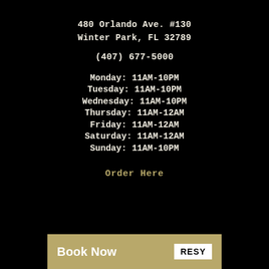480 Orlando Ave. #130
Winter Park, FL 32789
(407) 677-5000
Monday: 11AM-10PM
Tuesday: 11AM-10PM
Wednesday: 11AM-10PM
Thursday: 11AM-12AM
Friday: 11AM-12AM
Saturday: 11AM-12AM
Sunday: 11AM-10PM
Order Here
Book Now  RESY